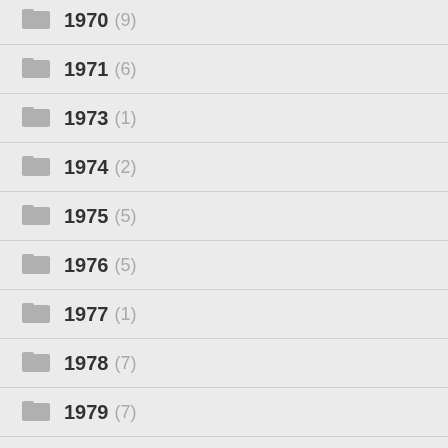1970 (9)
1971 (6)
1973 (1)
1974 (2)
1975 (5)
1976 (5)
1977 (1)
1978 (7)
1979 (7)
1980 (2)